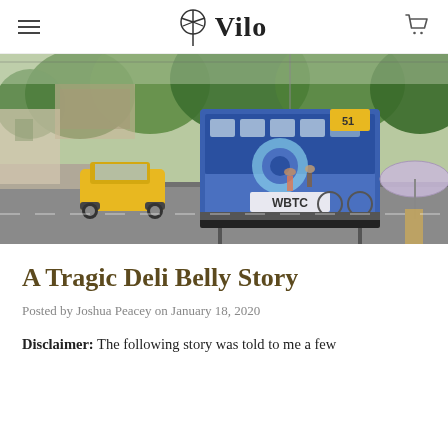Vilo
[Figure (photo): Street scene in Kolkata, India. A blue WBTC tram (numbered 51) dominates the center of the image on a busy street lined with lush green trees. A yellow Ambassador taxi is visible on the left. Pedestrians are on the sidewalk. A woman with a light purple umbrella is on the right side.]
A Tragic Deli Belly Story
Posted by Joshua Peacey on January 18, 2020
Disclaimer: The following story was told to me a few